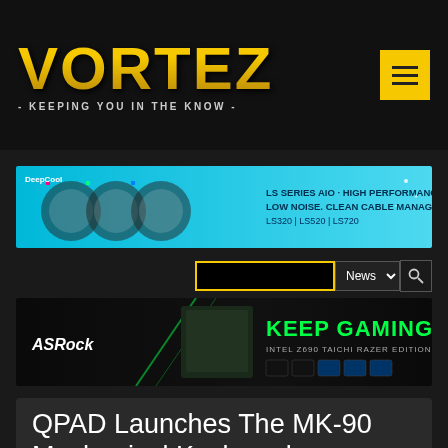VORTEZ - KEEPING YOU IN THE KNOW
[Figure (illustration): DeepCool LS Series AIO advertisement banner — cyan/teal background with RGB fans and cooler hardware, text: LS SERIES AIO · HIGH PERFORMANCE. LOW NOISE. CLEAN CABLE MANAGEMENT LS320 | LS520 | LS720]
[Figure (illustration): ASRock advertisement banner — dark background with motherboard, KEEP GAMING text in green, INTEL Z690 TAICHI RAZER EDITION]
QPAD Launches The MK-90 Mechanical Keyboard, Featuring Enhanced Lighting